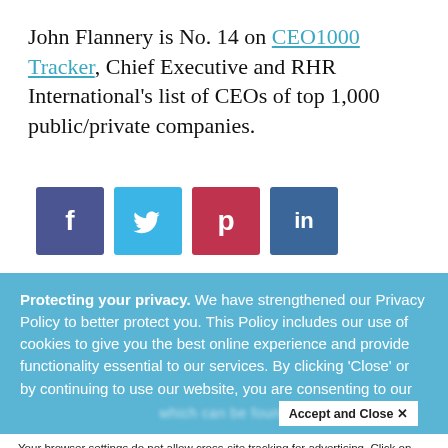John Flannery is No. 14 on CEO1000 Tracker, Chief Executive and RHR International's list of CEOs of top 1,000 public/private companies.
[Figure (infographic): Social media share buttons: Facebook (f), Twitter (bird), Pinterest (p), LinkedIn (in)]
Protecting your privacy. We have strengthened our Privacy Policy to better protect you. This Policy includes our use of cookies to give you the best online experience and provide functionality essential to our services. By clicking 'Close' or by continuing to use our website, you are consenting to our
Accept and Close ×
Your browser settings do not allow cross-site tracking for advertising. Click on this page to allow AdRoll to use cross-site tracking to tailor ads to you. Learn more or opt out of this AdRoll tracking by clicking here. This message only appears once.